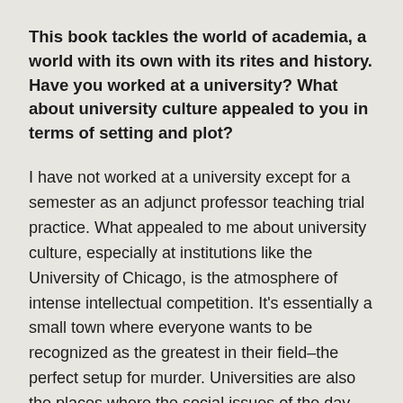This book tackles the world of academia, a world with its own with its rites and history. Have you worked at a university? What about university culture appealed to you in terms of setting and plot?
I have not worked at a university except for a semester as an adjunct professor teaching trial practice. What appealed to me about university culture, especially at institutions like the University of Chicago, is the atmosphere of intense intellectual competition. It's essentially a small town where everyone wants to be recognized as the greatest in their field–the perfect setup for murder. Universities are also the places where the social issues of the day are constantly being debated, something I tried to work into DANTE'S DILEMMA. Two of my kids got their undergraduate degrees at U of C, and I spent a year as a visiting student at the Law